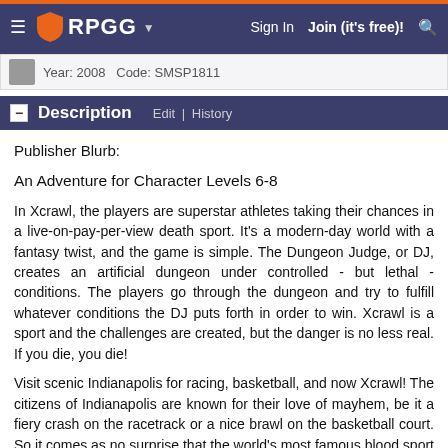RPGG — Sign In | Join (it's free)! [search]
Year: 2008   Code: SMSP1811
Description  Edit | History
Publisher Blurb:
An Adventure for Character Levels 6-8
In Xcrawl, the players are superstar athletes taking their chances in a live-on-pay-per-view death sport. It's a modern-day world with a fantasy twist, and the game is simple. The Dungeon Judge, or DJ, creates an artificial dungeon under controlled - but lethal - conditions. The players go through the dungeon and try to fulfill whatever conditions the DJ puts forth in order to win. Xcrawl is a sport and the challenges are created, but the danger is no less real. If you die, you die!
Visit scenic Indianapolis for racing, basketball, and now Xcrawl! The citizens of Indianapolis are known for their love of mayhem, be it a fiery crash on the racetrack or a nice brawl on the basketball court. So it comes as no surprise that the world's most famous blood sport is quite popular in Old Indy, and charismatic DJ HoosierDaddy has emerged as a popular leader in Xcrawl.
The DJ has set up the ultimate adventure and now you must...